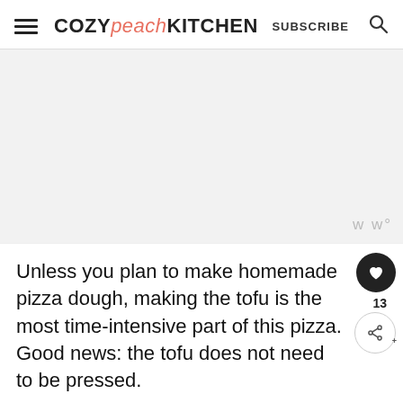COZY peach KITCHEN  SUBSCRIBE
[Figure (other): Gray advertisement placeholder area with Wunderkind badge (ww°) in lower right]
Unless you plan to make homemade pizza dough, making the tofu is the most time-intensive part of this pizza. Good news: the tofu does not need to be pressed.
[Figure (other): Blue advertisement banner: 'From Hello to Help, 211 is Here' with subtext 'Food • Housing • Utilities Assistance • Mental Health' and close button X]